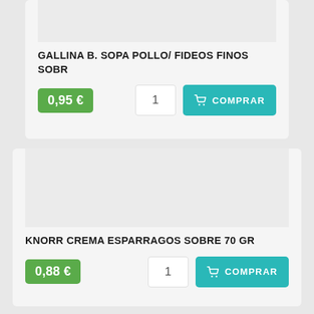GALLINA B. SOPA POLLO/ FIDEOS FINOS SOBR
0,95 €
1
COMPRAR
KNORR CREMA ESPARRAGOS SOBRE 70 GR
0,88 €
1
COMPRAR